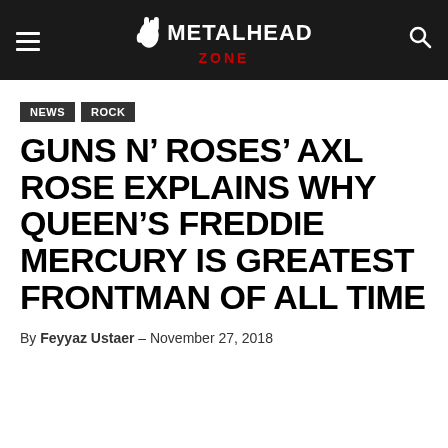METALHEAD ZONE
NEWS
ROCK
GUNS N’ ROSES’ AXL ROSE EXPLAINS WHY QUEEN’S FREDDIE MERCURY IS GREATEST FRONTMAN OF ALL TIME
By Feyyaz Ustaer – November 27, 2018